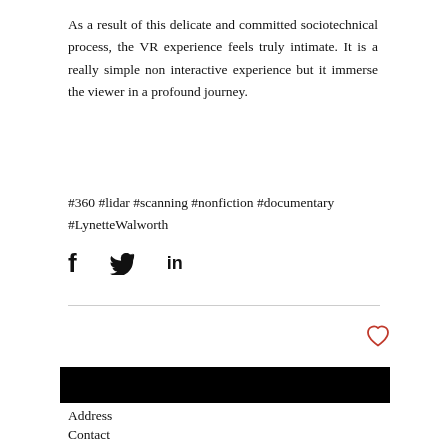As a result of this delicate and committed sociotechnical process, the VR experience feels truly intimate. It is a really simple non interactive experience but it immerse the viewer in a profound journey.
#360 #lidar #scanning #nonfiction #documentary #LynetteWalworth
[Figure (other): Social share icons: Facebook (f), Twitter (bird), LinkedIn (in)]
[Figure (other): Heart/like icon outline in red/pink]
[Figure (other): Black rectangular banner/image bar]
Address
Contact